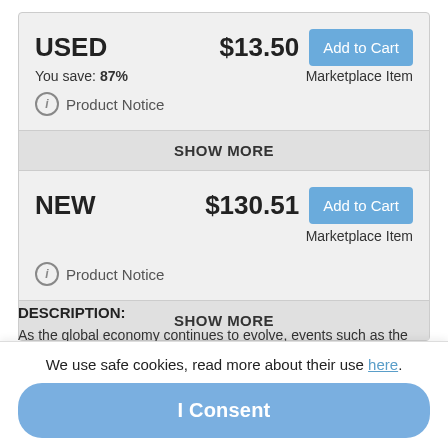USED
$13.50
Add to Cart
You save: 87%
Marketplace Item
Product Notice
SHOW MORE
NEW
$130.51
Add to Cart
Marketplace Item
Product Notice
SHOW MORE
DESCRIPTION:
As the global economy continues to evolve, events such as the unification of European markets have prompted economists and policymakers to consider
We use safe cookies, read more about their use here.
I Consent